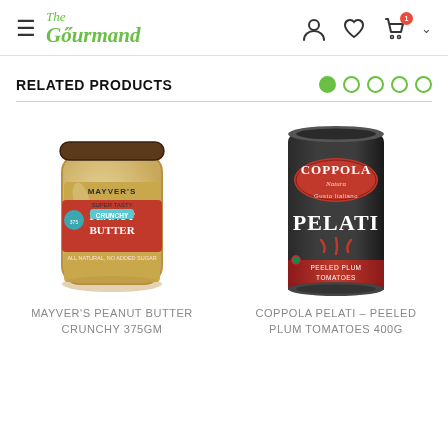The Gourmand — navigation header with hamburger menu, logo, user icon, wishlist icon, cart icon with badge, and chevron
RELATED PRODUCTS
[Figure (photo): Mayver's Peanut Butter Crunchy 375gm jar — glass jar with beige peanut butter, brown lid, red label with 'SUPER TASTY CRUNCHY PEANUT BUTTER' text, teal brand badge]
[Figure (photo): Coppola Pelati Peeled Plum Tomatoes 400g can — dark charcoal can with red oval label reading 'COPPOLA Natura', 'Gusto Italiano', 'PELATI', 'PEELED PLUM TOMATOES', red tomato imagery at bottom]
MAYVER'S PEANUT BUTTER CRUNCHY 375GM
COPPOLA PELATI – PEELED PLUM TOMATOES 400G